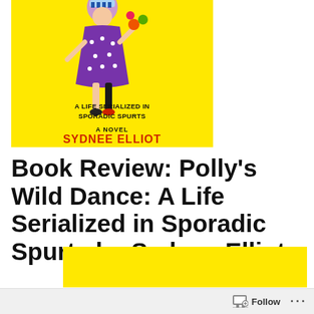[Figure (illustration): Book cover for 'Polly's Wild Dance: A Life Serialized in Sporadic Spurts' by Sydnee Elliot. Yellow background with illustrated figure in purple dress. Text reads: 'A LIFE SERIALIZED IN SPORADIC SPURTS', 'A NOVEL', 'SYDNEE ELLIOT' in red.]
Book Review: Polly's Wild Dance: A Life Serialized in Sporadic Spurts by Sydnee Elliot
[Figure (illustration): Partial yellow rectangle visible at bottom of page, likely another book cover image partially cropped.]
Follow ···